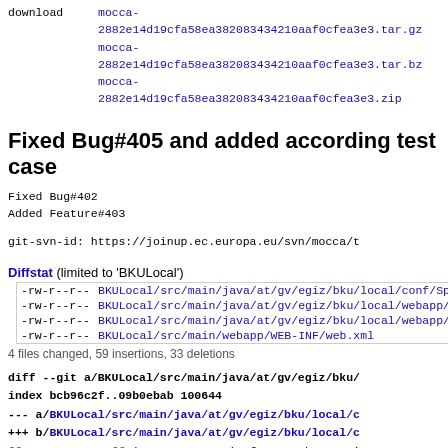download   mocca-2882e14d19cfa58ea382083434210aaf0cfea3e3.tar.gz
mocca-2882e14d19cfa58ea382083434210aaf0cfea3e3.tar.bz
mocca-2882e14d19cfa58ea382083434210aaf0cfea3e3.zip
Fixed Bug#405 and added according test case
Fixed Bug#402
Added Feature#403
git-svn-id: https://joinup.ec.europa.eu/svn/mocca/t
Diffstat (limited to 'BKULocal')
| permissions | file |
| --- | --- |
| -rw-r--r-- | BKULocal/src/main/java/at/gv/egiz/bku/local/conf/SpringCon |
| -rw-r--r-- | BKULocal/src/main/java/at/gv/egiz/bku/local/webapp/BKURe |
| -rw-r--r-- | BKULocal/src/main/java/at/gv/egiz/bku/local/webapp/Springb |
| -rw-r--r-- | BKULocal/src/main/webapp/WEB-INF/web.xml |
4 files changed, 59 insertions, 33 deletions
diff --git a/BKULocal/src/main/java/at/gv/egiz/bku/
index bcb96c2f..09b0ebab 100644
--- a/BKULocal/src/main/java/at/gv/egiz/bku/local/c
+++ b/BKULocal/src/main/java/at/gv/egiz/bku/local/c
@@ -29,6 +29,7 @@ import org.springframework.core.i
 import org.springframework.core.io.ResourceLoader;